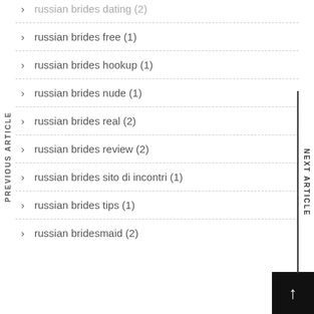russian brides dating (2)
russian brides free (1)
russian brides hookup (1)
russian brides nude (1)
russian brides real (2)
russian brides review (2)
russian brides sito di incontri (1)
russian brides tips (1)
russian bridesmaid (2)